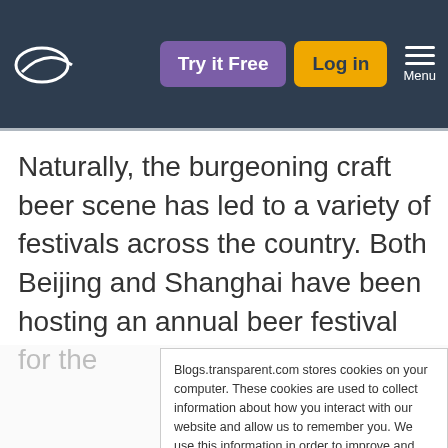Try it Free | Log in | Menu
Naturally, the burgeoning craft beer scene has led to a variety of festivals across the country. Both Beijing and Shanghai have been hosting an annual beer festival for the
Blogs.transparent.com stores cookies on your computer. These cookies are used to collect information about how you interact with our website and allow us to remember you. We use this information in order to improve and customize your browsing experience, as well as for analytics and metrics about our visitors - both on this website and other media. To find out more about the cookies we use, see our Privacy Policy.
If you decline, your information won’t be tracked when you visit this website. A single cookie will be used in your browser to remember your preference not to be tracked.
Accept | Decline